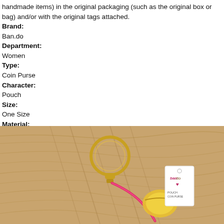handmade items) in the original packaging (such as the original box or bag) and/or with the original tags attached.
Brand:
Ban.do
Department:
Women
Type:
Coin Purse
Character:
Pouch
Size:
One Size
Material:
PVC
Accents:
Zip
Colour:
Gold
[Figure (photo): Photo of a Ban.do gold keychain coin purse pouch with a key ring, pink strap, and product tag, resting on a wooden surface.]